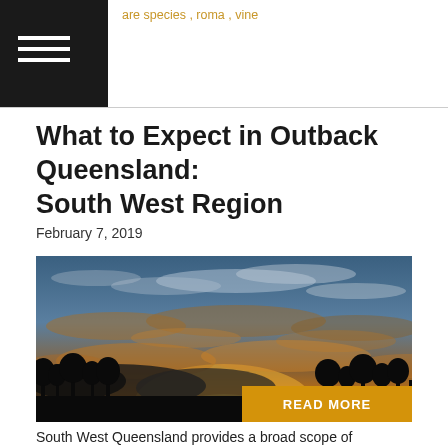are species, roma, vine
What to Expect in Outback Queensland: South West Region
February 7, 2019
[Figure (photo): Sunset landscape photograph showing dramatic orange and blue sky with silhouetted trees along the horizon, with a READ MORE button overlay in the bottom right corner.]
South West Queensland provides a broad scope of landscapes